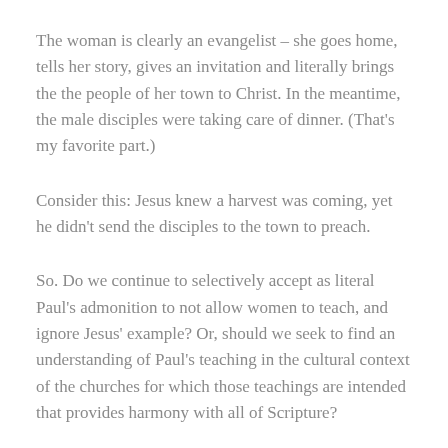The woman is clearly an evangelist – she goes home, tells her story, gives an invitation and literally brings the the people of her town to Christ. In the meantime, the male disciples were taking care of dinner. (That's my favorite part.)
Consider this: Jesus knew a harvest was coming, yet he didn't send the disciples to the town to preach.
So. Do we continue to selectively accept as literal Paul's admonition to not allow women to teach, and ignore Jesus' example? Or, should we seek to find an understanding of Paul's teaching in the cultural context of the churches for which those teachings are intended that provides harmony with all of Scripture?